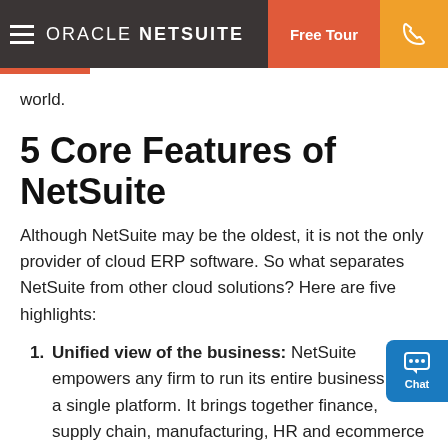ORACLE NETSUITE | Free Tour | [phone]
world.
5 Core Features of NetSuite
Although NetSuite may be the oldest, it is not the only provider of cloud ERP software. So what separates NetSuite from other cloud solutions? Here are five highlights:
1. Unified view of the business: NetSuite empowers any firm to run its entire business from a single platform. It brings together finance, supply chain, manufacturing, HR and ecommerce on one system, with one database